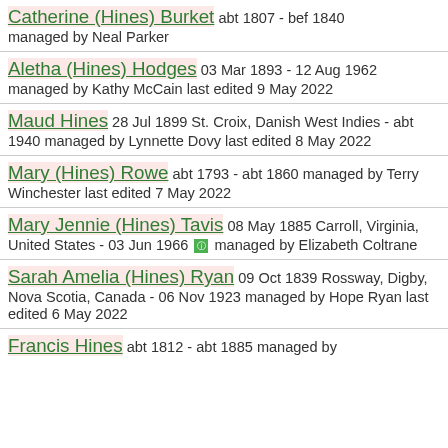Catherine (Hines) Burket abt 1807 - bef 1840 managed by Neal Parker
Aletha (Hines) Hodges 03 Mar 1893 - 12 Aug 1962 managed by Kathy McCain last edited 9 May 2022
Maud Hines 28 Jul 1899 St. Croix, Danish West Indies - abt 1940 managed by Lynnette Dovy last edited 8 May 2022
Mary (Hines) Rowe abt 1793 - abt 1860 managed by Terry Winchester last edited 7 May 2022
Mary Jennie (Hines) Tavis 08 May 1885 Carroll, Virginia, United States - 03 Jun 1966 managed by Elizabeth Coltrane
Sarah Amelia (Hines) Ryan 09 Oct 1839 Rossway, Digby, Nova Scotia, Canada - 06 Nov 1923 managed by Hope Ryan last edited 6 May 2022
Francis Hines abt 1812 - abt 1885 managed by